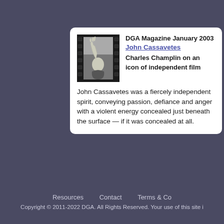[Figure (photo): Black and white film strip style photo of John Cassavetes with hand raised]
DGA Magazine January 2003
John Cassavetes
Charles Champlin on an icon of independent film
John Cassavetes was a fiercely independent spirit, conveying passion, defiance and anger with a violent energy concealed just beneath the surface — if it was concealed at all.
Resources   Contact   Terms & Co
Copyright © 2011-2022 DGA. All Rights Reserved. Your use of this site i